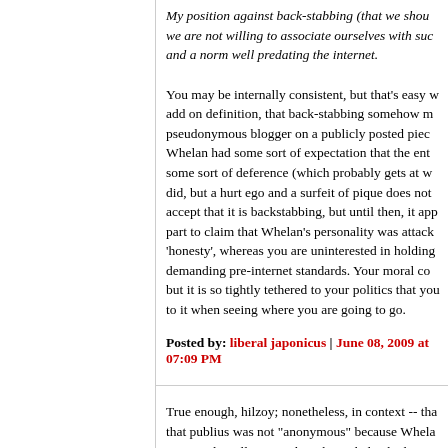My position against back-stabbing (that we should not, we are not willing to associate ourselves with such and a norm well predating the internet.
You may be internally consistent, but that's easy w add on definition, that back-stabbing somehow m pseudonymous blogger on a publicly posted piec Whelan had some sort of expectation that the ent some sort of deference (which probably gets at w did, but a hurt ego and a surfeit of pique does not accept that it is backstabbing, but until then, it app part to claim that Whelan's personality was attack 'honesty', whereas you are uninterested in holding demanding pre-internet standards. Your moral co but it is so tightly tethered to your politics that you to it when seeing where you are going to go.
Posted by: liberal japonicus | June 08, 2009 at 07:09 PM
True enough, hilzoy; nonetheless, in context -- tha that publius was not "anonymous" because Whela time, and Pitelli responding that Whelan had to tra that the nature of the "tracking down" amounts to That is the way one contacts publius through thi